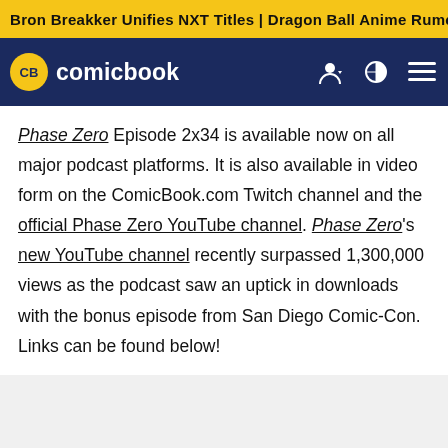Bron Breakker Unifies NXT Titles | Dragon Ball Anime Rumor
[Figure (logo): ComicBook.com website header with CB logo badge, site name 'comicbook', and navigation icons (user, theme toggle, menu)]
Phase Zero Episode 2x34 is available now on all major podcast platforms. It is also available in video form on the ComicBook.com Twitch channel and the official Phase Zero YouTube channel. Phase Zero's new YouTube channel recently surpassed 1,300,000 views as the podcast saw an uptick in downloads with the bonus episode from San Diego Comic-Con. Links can be found below!